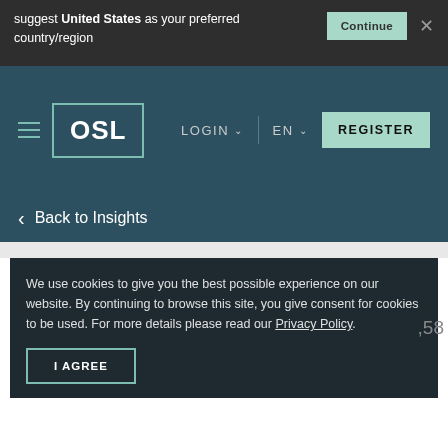suggest United States as your preferred country/region
[Figure (screenshot): OSL website navigation bar with hamburger menu, OSL logo, LOGIN, EN language selector, and REGISTER button on dark teal background]
Back to Insights
We use cookies to give you the best possible experience on our website. By continuing to browse this site, you give consent for cookies to be used. For more details please read our Privacy Policy.
I AGREE